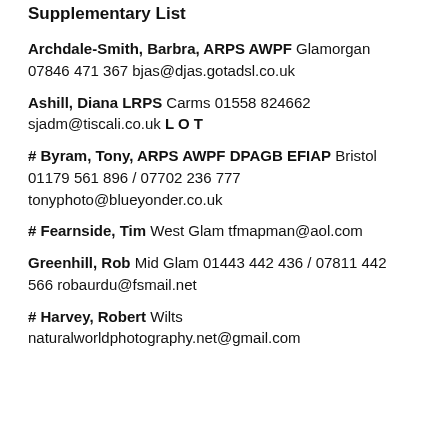Supplementary List
Archdale-Smith, Barbra, ARPS AWPF  Glamorgan  07846 471 367  bjas@djas.gotadsl.co.uk
Ashill, Diana LRPS  Carms 01558 824662  sjadm@tiscali.co.uk  L O T
# Byram, Tony, ARPS AWPF DPAGB EFIAP  Bristol  01179 561 896 / 07702 236 777  tonyphoto@blueyonder.co.uk
# Fearnside, Tim  West Glam  tfmapman@aol.com
Greenhill, Rob  Mid Glam  01443 442 436 / 07811 442 566  robaurdu@fsmail.net
# Harvey, Robert  Wilts  naturalworldphotography.net@gmail.com